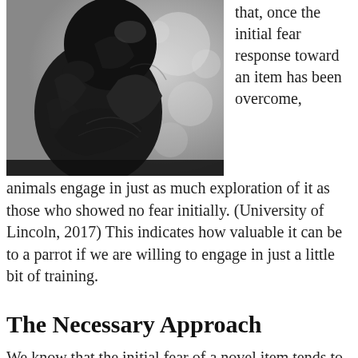[Figure (photo): Black and white close-up photograph of a dark-feathered parrot, viewed from behind/side, with a blurred bokeh background.]
that, once the initial fear response toward an item has been overcome, animals engage in just as much exploration of it as those who showed no fear initially. (University of Lincoln, 2017) This indicates how valuable it can be to a parrot if we are willing to engage in just a little bit of training.
The Necessary Approach
We know that the initial fear of a novel item tends to diminish with exposure. However, it is not acceptable to simply put a new item near to a parrot